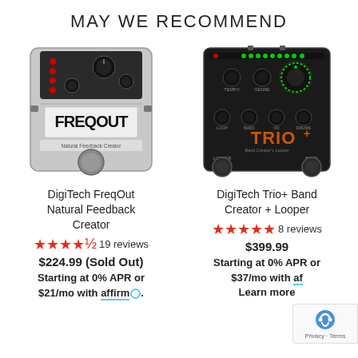MAY WE RECOMMEND
[Figure (photo): DigiTech FreqOut Natural Feedback Creator guitar pedal - silver/black stomp box]
[Figure (photo): DigiTech Trio+ Band Creator + Looper guitar pedal - black stomp box with green LED ring]
DigiTech FreqOut Natural Feedback Creator ★★★★☆ 19 reviews $224.99 (Sold Out) Starting at 0% APR or $21/mo with affirm.
DigiTech Trio+ Band Creator + Looper ★★★★★ 8 reviews $399.99 Starting at 0% APR or $37/mo with affirm. Learn more